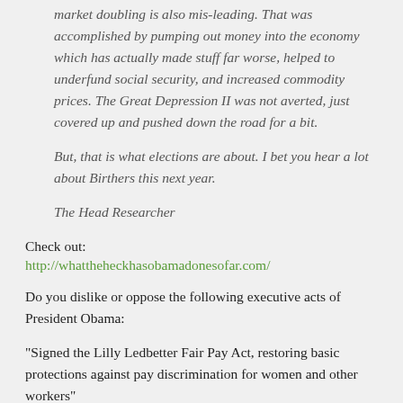market doubling is also mis-leading. That was accomplished by pumping out money into the economy which has actually made stuff far worse, helped to underfund social security, and increased commodity prices. The Great Depression II was not averted, just covered up and pushed down the road for a bit.
But, that is what elections are about. I bet you hear a lot about Birthers this next year.
The Head Researcher
Check out: http://whattheheckhasobamadonesofar.com/
Do you dislike or oppose the following executive acts of President Obama:
“Signed the Lilly Ledbetter Fair Pay Act, restoring basic protections against pay discrimination for women and other workers”
“Significantly increased funding for the Violence Against Women Act”
Pssh. Pay discrimination against women. Liberal